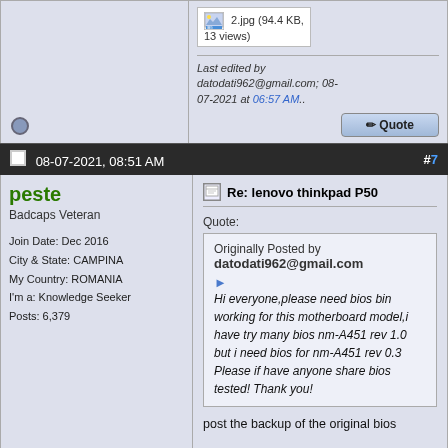2.jpg (94.4 KB, 13 views)
Last edited by datodati962@gmail.com; 08-07-2021 at 06:57 AM..
08-07-2021, 08:51 AM #7
peste
Badcaps Veteran
Join Date: Dec 2016
City & State: CAMPINA
My Country: ROMANIA
I'm a: Knowledge Seeker
Posts: 6,379
Re: lenovo thinkpad P50
Quote:
Originally Posted by datodati962@gmail.com
Hi everyone,please need bios bin working for this motherboard model,i have try many bios nm-A451 rev 1.0 but i need bios for nm-A451 rev 0.3 Please if have anyone share bios tested! Thank you!
post the backup of the original bios